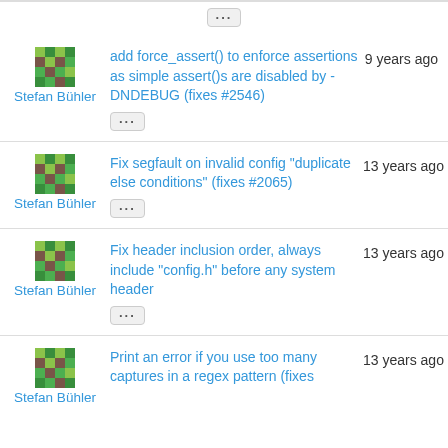Stefan Bühler | add force_assert() to enforce assertions as simple assert()s are disabled by -DNDEBUG (fixes #2546) | 9 years ago
Stefan Bühler | Fix segfault on invalid config "duplicate else conditions" (fixes #2065) | 13 years ago
Stefan Bühler | Fix header inclusion order, always include "config.h" before any system header | 13 years ago
Stefan Bühler | Print an error if you use too many captures in a regex pattern (fixes | 13 years ago